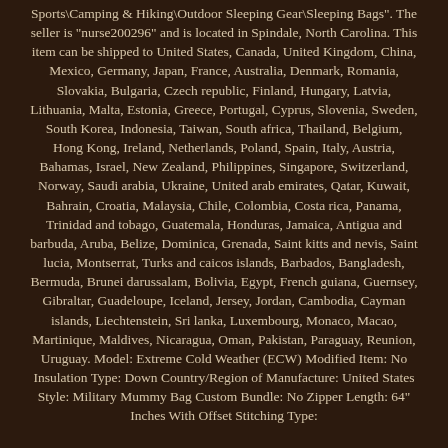Sports\Camping & Hiking\Outdoor Sleeping Gear\Sleeping Bags". The seller is "nurse200296" and is located in Spindale, North Carolina. This item can be shipped to United States, Canada, United Kingdom, China, Mexico, Germany, Japan, France, Australia, Denmark, Romania, Slovakia, Bulgaria, Czech republic, Finland, Hungary, Latvia, Lithuania, Malta, Estonia, Greece, Portugal, Cyprus, Slovenia, Sweden, South Korea, Indonesia, Taiwan, South africa, Thailand, Belgium, Hong Kong, Ireland, Netherlands, Poland, Spain, Italy, Austria, Bahamas, Israel, New Zealand, Philippines, Singapore, Switzerland, Norway, Saudi arabia, Ukraine, United arab emirates, Qatar, Kuwait, Bahrain, Croatia, Malaysia, Chile, Colombia, Costa rica, Panama, Trinidad and tobago, Guatemala, Honduras, Jamaica, Antigua and barbuda, Aruba, Belize, Dominica, Grenada, Saint kitts and nevis, Saint lucia, Montserrat, Turks and caicos islands, Barbados, Bangladesh, Bermuda, Brunei darussalam, Bolivia, Egypt, French guiana, Guernsey, Gibraltar, Guadeloupe, Iceland, Jersey, Jordan, Cambodia, Cayman islands, Liechtenstein, Sri lanka, Luxembourg, Monaco, Macao, Martinique, Maldives, Nicaragua, Oman, Pakistan, Paraguay, Reunion, Uruguay. Model: Extreme Cold Weather (ECW) Modified Item: No Insulation Type: Down Country/Region of Manufacture: United States Style: Military Mummy Bag Custom Bundle: No Zipper Length: 64" Inches With Offset Stitching Type: